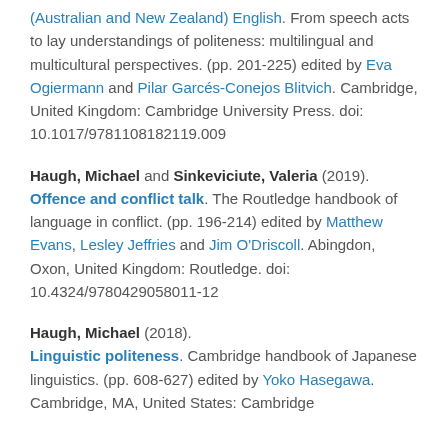(Australian and New Zealand) English. From speech acts to lay understandings of politeness: multilingual and multicultural perspectives. (pp. 201-225) edited by Eva Ogiermann and Pilar Garcés-Conejos Blitvich. Cambridge, United Kingdom: Cambridge University Press. doi: 10.1017/9781108182119.009
Haugh, Michael and Sinkeviciute, Valeria (2019). Offence and conflict talk. The Routledge handbook of language in conflict. (pp. 196-214) edited by Matthew Evans, Lesley Jeffries and Jim O'Driscoll. Abingdon, Oxon, United Kingdom: Routledge. doi: 10.4324/9780429058011-12
Haugh, Michael (2018). Linguistic politeness. Cambridge handbook of Japanese linguistics. (pp. 608-627) edited by Yoko Hasegawa. Cambridge, MA, United States: Cambridge